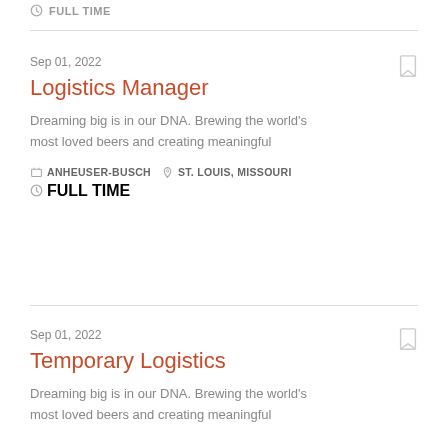FULL TIME
Sep 01, 2022
Logistics Manager
Dreaming big is in our DNA. Brewing the world's most loved beers and creating meaningful
ANHEUSER-BUSCH   ST. LOUIS, MISSOURI   FULL TIME
Sep 01, 2022
Temporary Logistics
Dreaming big is in our DNA. Brewing the world's most loved beers and creating meaningful